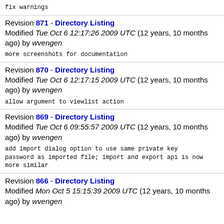fix warnings
Revision 871 - Directory Listing
Modified Tue Oct 6 12:17:26 2009 UTC (12 years, 10 months ago) by wvengen
more screenshots for documentation
Revision 870 - Directory Listing
Modified Tue Oct 6 12:17:15 2009 UTC (12 years, 10 months ago) by wvengen
allow argument to viewlist action
Revision 869 - Directory Listing
Modified Tue Oct 6 09:55:57 2009 UTC (12 years, 10 months ago) by wvengen
add import dialog option to use same private key password as imported file; import and export api is now more similar
Revision 866 - Directory Listing
Modified Mon Oct 5 15:15:39 2009 UTC (12 years, 10 months ago) by wvengen